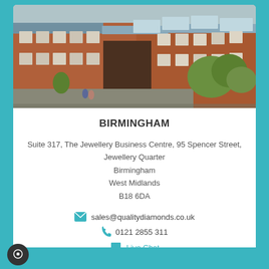[Figure (photo): Exterior photo of The Jewellery Business Centre in Birmingham — a red-brick Victorian building with skylights, courtyard, and trees]
BIRMINGHAM
Suite 317, The Jewellery Business Centre, 95 Spencer Street, Jewellery Quarter
Birmingham
West Midlands
B18 6DA
sales@qualitydiamonds.co.uk
0121 2855 311
Live Chat